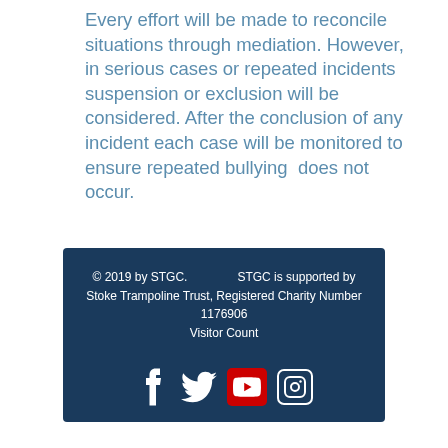Every effort will be made to reconcile situations through mediation. However, in serious cases or repeated incidents suspension or exclusion will be considered. After the conclusion of any incident each case will be monitored to ensure repeated bullying  does not occur.
© 2019 by STGC.                STGC is supported by Stoke Trampoline Trust, Registered Charity Number 1176906 Visitor Count